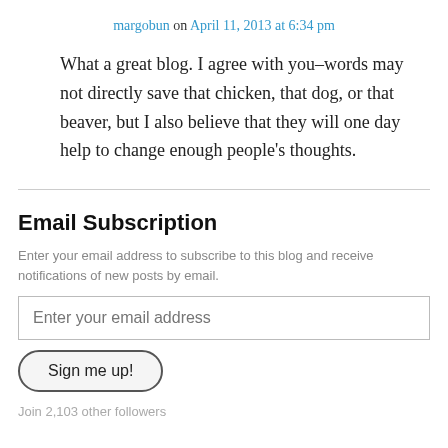margobun on April 11, 2013 at 6:34 pm
What a great blog. I agree with you–words may not directly save that chicken, that dog, or that beaver, but I also believe that they will one day help to change enough people's thoughts.
Email Subscription
Enter your email address to subscribe to this blog and receive notifications of new posts by email.
Enter your email address
Sign me up!
Join 2,103 other followers